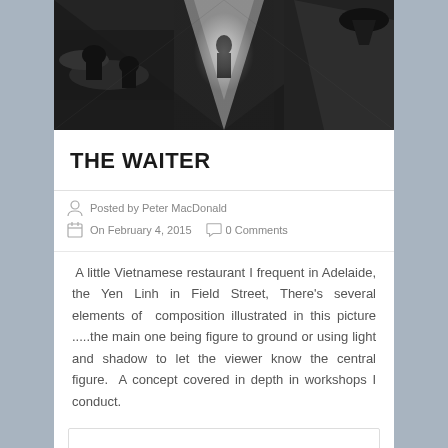[Figure (photo): Black and white overhead/aerial photograph of a Vietnamese restaurant interior, showing patrons seated at tables, a bar counter on the right, dramatic light and shadow contrast with a central illuminated figure]
THE WAITER
Posted by Peter MacDonald
On February 4, 2015   0 Comments
A little Vietnamese restaurant I frequent in Adelaide, the Yen Linh in Field Street, There's several elements of composition illustrated in this picture .....the main one being figure to ground or using light and shadow to let the viewer know the central figure.  A concept covered in depth in workshops I conduct.